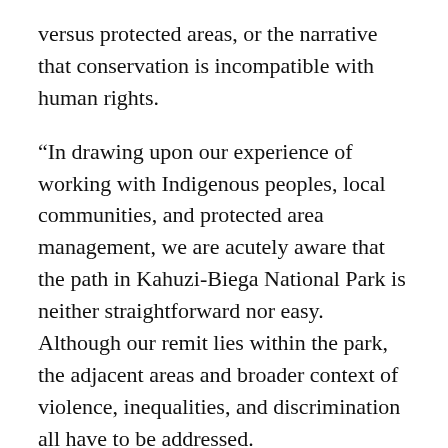versus protected areas, or the narrative that conservation is incompatible with human rights.
“In drawing upon our experience of working with Indigenous peoples, local communities, and protected area management, we are acutely aware that the path in Kahuzi-Biega National Park is neither straightforward nor easy. Although our remit lies within the park, the adjacent areas and broader context of violence, inequalities, and discrimination all have to be addressed.
“We therefore seek to work with organizations who have the expertise in truth and reconciliation, conflict resolution, peacebuilding, and development